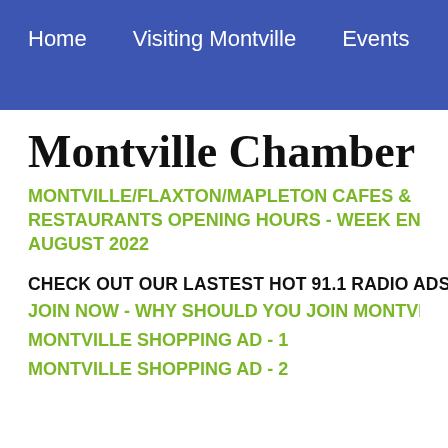Home   Visiting Montville   Events   Blog   Map
Montville Chamber of Comm
MONTVILLE/FLAXTON/MAPLETON CAFES & RESTAURANTS OPENING HOURS - WEEK EN... AUGUST 2022
CHECK OUT OUR LASTEST HOT 91.1 RADIO ADS:
JOIN NOW - WHY SHOULD YOU JOIN MONTVILLE CHAM...
MONTVILLE SHOPPING AD - 1
MONTVILLE SHOPPING AD - 2